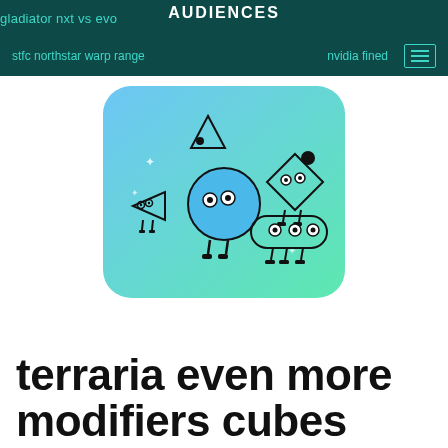gladiator nxt vs evo | AUDIENCES | stfc northstar warp range | nvidia fined
[Figure (illustration): Illustrated characters made of geometric shapes (circle, diamond, capsule) with eyes and legs, on a blue-to-green gradient rounded-rectangle background]
terraria even more modifiers cubes